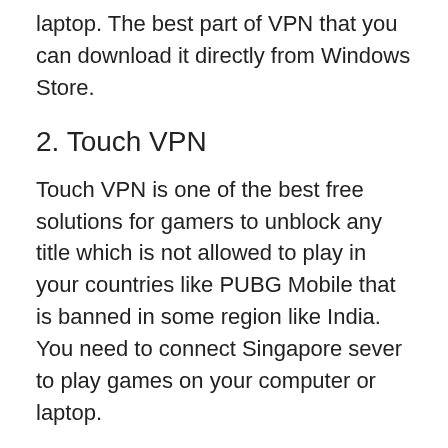laptop. The best part of VPN that you can download it directly from Windows Store.
2. Touch VPN
Touch VPN is one of the best free solutions for gamers to unblock any title which is not allowed to play in your countries like PUBG Mobile that is banned in some region like India. You need to connect Singapore sever to play games on your computer or laptop.
Here is the Guide: How to Play PUBG Lite PC in all Country Europe, INDIA, CANADA
FAQ